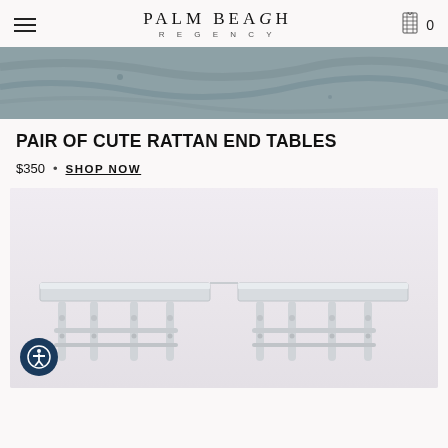PALM BEACH REGENCY
[Figure (photo): Close-up photograph of a stone or marble surface in grey tones]
PAIR OF CUTE RATTAN END TABLES
$350 • SHOP NOW
[Figure (photo): Two white painted rattan end tables with glass or mirrored tops, photographed against a light pink/white background]